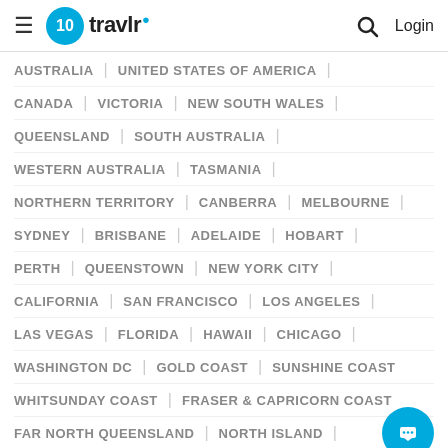10 travlr — Login
AUSTRALIA | UNITED STATES OF AMERICA |
CANADA | VICTORIA | NEW SOUTH WALES |
QUEENSLAND | SOUTH AUSTRALIA |
WESTERN AUSTRALIA | TASMANIA |
NORTHERN TERRITORY | CANBERRA | MELBOURNE |
SYDNEY | BRISBANE | ADELAIDE | HOBART |
PERTH | QUEENSTOWN | NEW YORK CITY |
CALIFORNIA | SAN FRANCISCO | LOS ANGELES |
LAS VEGAS | FLORIDA | HAWAII | CHICAGO |
WASHINGTON DC | GOLD COAST | SUNSHINE COAST
WHITSUNDAY COAST | FRASER & CAPRICORN COAST
FAR NORTH QUEENSLAND | NORTH ISLAND |